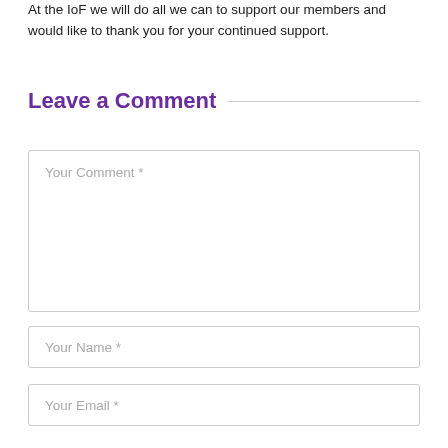At the IoF we will do all we can to support our members and would like to thank you for your continued support.
Leave a Comment
Your Comment *
Your Name *
Your Email *